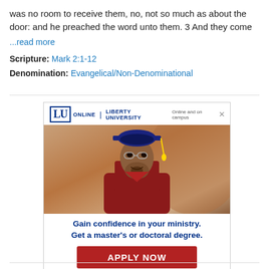was no room to receive them, no, not so much as about the door: and he preached the word unto them. 3 And they come
...read more
Scripture: Mark 2:1-12
Denomination: Evangelical/Non-Denominational
[Figure (infographic): Liberty University Online advertisement showing a graduate in cap and gown with text 'Gain confidence in your ministry. Get a master's or doctoral degree.' and an APPLY NOW button.]